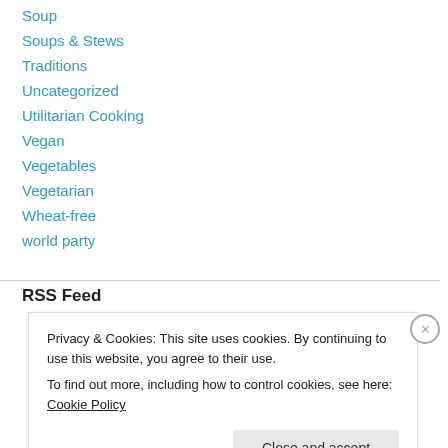Soup
Soups & Stews
Traditions
Uncategorized
Utilitarian Cooking
Vegan
Vegetables
Vegetarian
Wheat-free
world party
RSS Feed
Privacy & Cookies: This site uses cookies. By continuing to use this website, you agree to their use.
To find out more, including how to control cookies, see here: Cookie Policy